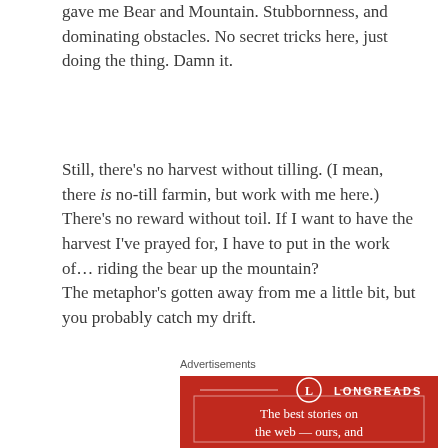I asked Lenormand cards for some guidance. They gave me Bear and Mountain. Stubbornness, and dominating obstacles. No secret tricks here, just doing the thing. Damn it.
Still, there's no harvest without tilling. (I mean, there is no-till farmin, but work with me here.) There's no reward without toil. If I want to have the harvest I've prayed for, I have to put in the work of... riding the bear up the mountain?
The metaphor's gotten away from me a little bit, but you probably catch my drift.
Advertisements
[Figure (other): Longreads advertisement banner on dark red background with logo and tagline 'The best stories on the web — ours, and']